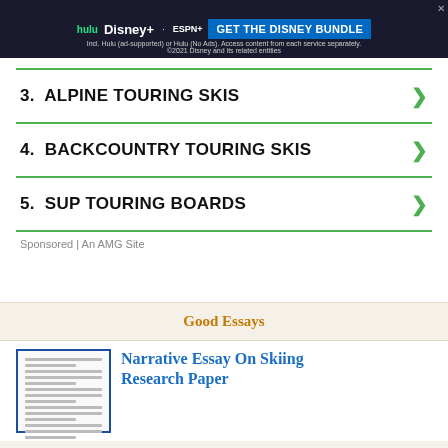[Figure (screenshot): Disney Bundle advertisement banner with Hulu, Disney+, ESPN+ logos and 'GET THE DISNEY BUNDLE' call to action]
3.  ALPINE TOURING SKIS
4.  BACKCOUNTRY TOURING SKIS
5.  SUP TOURING BOARDS
Sponsored | An AMG Site
Good Essays
Narrative Essay On Skiing Research Paper